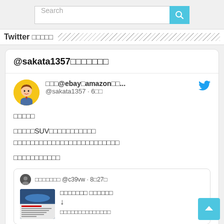[Figure (screenshot): Search bar with text input and teal search button with magnifier icon]
Twitter □□□□□
@sakata1357□□□□□□□
□□□@ebay□amazon□□... @sakata1357 · 6□□
□□□□□

□□□□□SUV□□□□□□□□□□□
□□□□□□□□□□□□□□□□□□□□□□□□□

□□□□□□□□□□□
□□□□□□□□ @c39vw · 8□27□
□□□□□□□□ □□□□□□
↓
□□□□□□□□□□□□□□